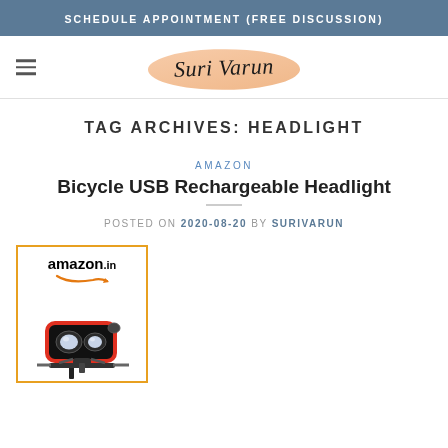SCHEDULE APPOINTMENT (FREE DISCUSSION)
[Figure (logo): Suri Varun cursive logo with peach/orange brushstroke background]
TAG ARCHIVES: HEADLIGHT
AMAZON
Bicycle USB Rechargeable Headlight
POSTED ON 2020-08-20 BY SURIVARUN
[Figure (screenshot): Amazon.in product card showing a bicycle USB rechargeable headlight mounted on handlebars, with orange border]